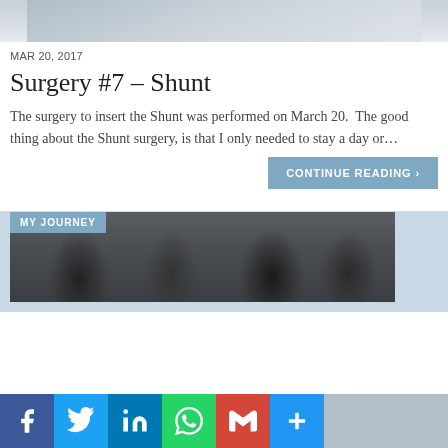[Figure (photo): Partial view of a light-colored background image, cropped at top]
MAR 20, 2017
Surgery #7 – Shunt
The surgery to insert the Shunt was performed on March 20. The good thing about the Shunt surgery, is that I only needed to stay a day or...
CONTINUE READING >
[Figure (photo): Photo of people sitting around a table, with a MY JOURNEY badge overlay in the top left corner]
Social share bar: Facebook, Twitter, LinkedIn, WhatsApp, Gmail, More